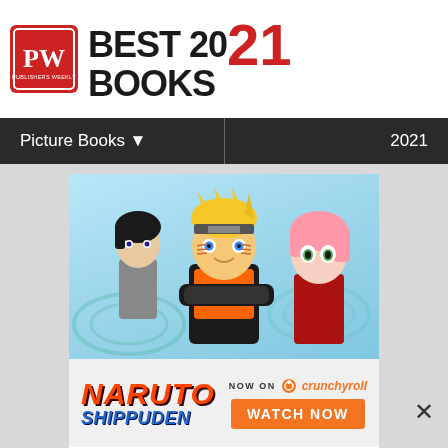PW BEST BOOKS 2021
Picture Books ▼     2021
[Figure (illustration): Naruto Shippuden advertisement banner featuring anime characters Sasuke, Naruto, and Sakura with 'NOW ON Crunchyroll - WATCH NOW' call to action. Text reads: NARUTO SHIPPUDEN NOW ON crunchyroll WATCH NOW]
©2002MK - 2007SP